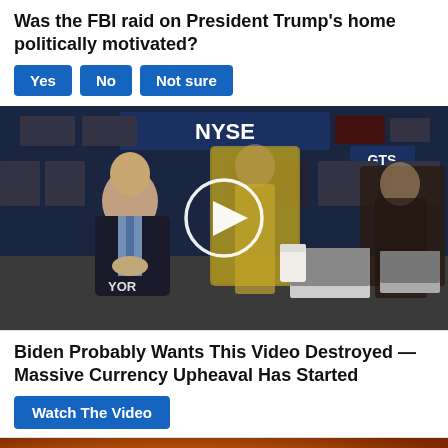Was the FBI raid on President Trump's home politically motivated?
Yes
No
Not sure
[Figure (photo): Video thumbnail showing a man in a dark suit seated at a desk at the NYSE trading floor, with two women (faces blurred) and a play button overlay. NYSE signage visible in background. Lower-left text reads 'YOR'.]
Biden Probably Wants This Video Destroyed — Massive Currency Upheaval Has Started
Watch The Video
[Figure (photo): Partial image of a person in front of a warm orange/amber background, cropped at bottom of page. A white up-arrow icon is visible in the bottom right.]